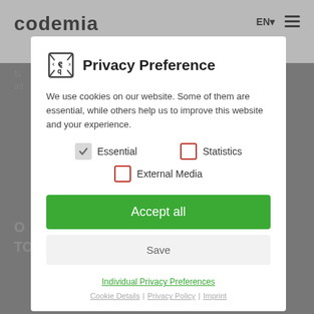[Figure (screenshot): Background of a website with 'codemia' logo in top left, EN language selector and hamburger menu in top right, grey background with partial text visible]
Privacy Preference
We use cookies on our website. Some of them are essential, while others help us to improve this website and your experience.
Essential (checked)
Statistics (unchecked)
External Media (unchecked)
Accept all
Save
Individual Privacy Preferences
Cookie Details | Privacy Policy | Imprint